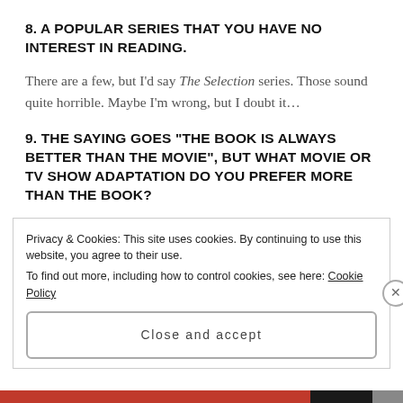8. A POPULAR SERIES THAT YOU HAVE NO INTEREST IN READING.
There are a few, but I’d say The Selection series. Those sound quite horrible. Maybe I’m wrong, but I doubt it…
9. THE SAYING GOES “THE BOOK IS ALWAYS BETTER THAN THE MOVIE”, BUT WHAT MOVIE OR TV SHOW ADAPTATION DO YOU PREFER MORE THAN THE BOOK?
Privacy & Cookies: This site uses cookies. By continuing to use this website, you agree to their use.
To find out more, including how to control cookies, see here: Cookie Policy
Close and accept